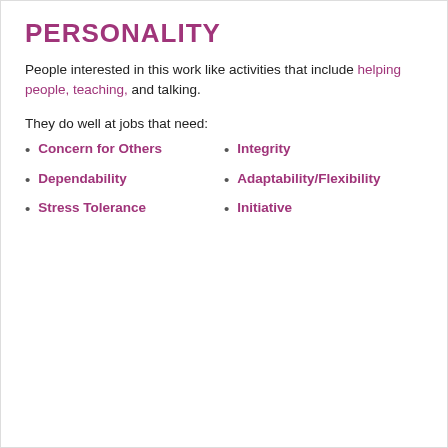PERSONALITY
People interested in this work like activities that include helping people, teaching, and talking.
They do well at jobs that need:
Concern for Others
Dependability
Stress Tolerance
Integrity
Adaptability/Flexibility
Initiative